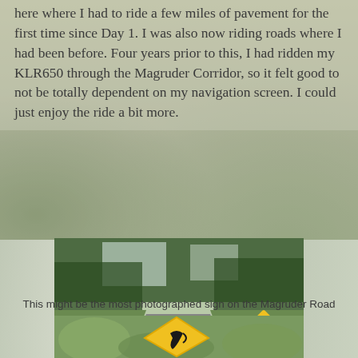here where I had to ride a few miles of pavement for the first time since Day 1. I was also now riding roads where I had been before. Four years prior to this, I had ridden my KLR650 through the Magruder Corridor, so it felt good to not be totally dependent on my navigation screen. I could just enjoy the ride a bit more.
[Figure (photo): A motorcycle (seen from behind, loaded with blue saddlebag) parked on a paved road through a conifer forest. A yellow diamond warning sign and a rectangular sign are visible on the right side of the road.]
This might be the most photographed sign on the Magruder Road
[Figure (photo): A yellow diamond-shaped road sign with a curved arrow symbol, seen up close among shrubs and trees.]